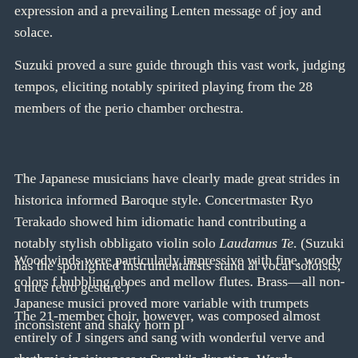expression and a prevailing Lenten message of joy and solace.
Suzuki proved a sure guide through this vast work, judging tempos, eliciting notably spirited playing from the 28 members of the period chamber orchestra.
The Japanese musicians have clearly made great strides in historically informed Baroque style. Concertmaster Ryo Terakado showed him idiomatic hand contributing a notably stylish obbligato violin solo Laudamus Te. (Suzuki has the spotlighted instrumentalists stand alongside vocal soloists, a nice retro gesture.)
Woodwinds were particularly impressive with fine, woody colors from bubbling oboes and mellow flutes. Brass—all non-Japanese musicians—proved more variable with trumpets inconsistent and shaky horn playing.
The 21-member choir, however, was composed almost entirely of Japanese singers and sang with wonderful verve and rhythmic incisiveness under Suzuki's direction. Words, however, were not always distinct, even